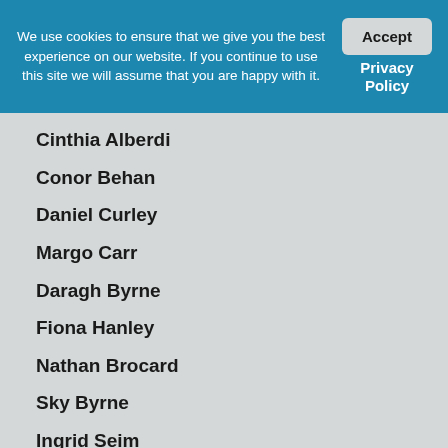We use cookies to ensure that we give you the best experience on our website. If you continue to use this site we will assume that you are happy with it.
Accept
Privacy Policy
Cinthia Alberdi
Conor Behan
Daniel Curley
Margo Carr
Daragh Byrne
Fiona Hanley
Nathan Brocard
Sky Byrne
Ingrid Seim
Rhaeh Leone
Nathan Hughes
Sue Atkinson